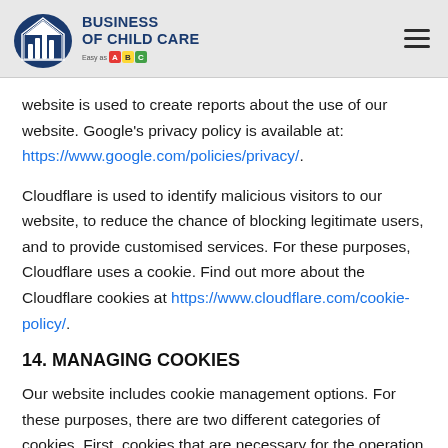BUSINESS OF CHILD CARE
website is used to create reports about the use of our website. Google's privacy policy is available at: https://www.google.com/policies/privacy/.
Cloudflare is used to identify malicious visitors to our website, to reduce the chance of blocking legitimate users, and to provide customised services. For these purposes, Cloudflare uses a cookie. Find out more about the Cloudflare cookies at https://www.cloudflare.com/cookie-policy/.
14. MANAGING COOKIES
Our website includes cookie management options. For these purposes, there are two different categories of cookies. First, cookies that are necessary for the operation